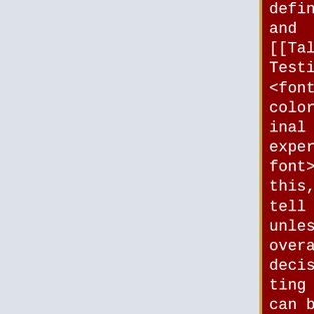definitive and [[Talk:About Testing|<font color=cyan>final experience</font>]] with this, I can tell you now unless your overall decision/vetting process can be done with a few minutes of my time before you engage my
definitive and [[Talk:About Testing|<font color=cyan>final experience</font>]] with this, I can tell you now unless your overall decision/vetting process can be done with a few minutes of my time before you engage my